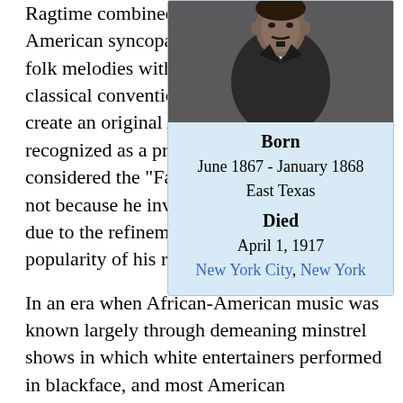Ragtime combined African-American syncopation and folk melodies with European classical conventions to create an original American musical style recognized as a precursor to jazz. Joplin is considered the "Father of Ragtime" by many, not because he invented the style, but rather due to the refinement and unprecedented popularity of his ragtime compositions.
[Figure (photo): Black and white photograph of Scott Joplin in formal attire]
| Field | Value |
| --- | --- |
| Born | June 1867 - January 1868
East Texas |
| Died | April 1, 1917
New York City, New York |
In an era when African-American music was known largely through demeaning minstrel shows in which white entertainers performed in blackface, and most American